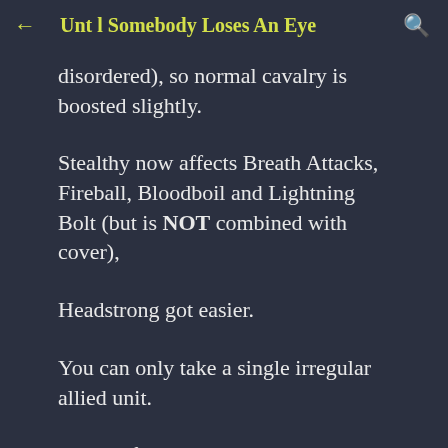Unt l Somebody Loses An Eye
disordered), so normal cavalry is boosted slightly.
Stealthy now affects Breath Attacks, Fireball, Bloodboil and Lightning Bolt (but is NOT combined with cover),
Headstrong got easier.
You can only take a single irregular allied unit.
The artefacts in the main book that were removed in CoK 2017 have returned, but updated.  (What is